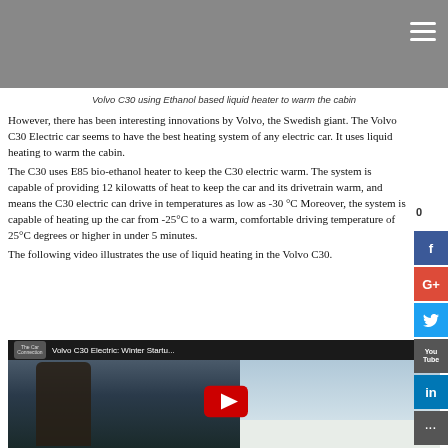[Figure (photo): Top gray hero image area with hamburger menu icon in upper right corner]
Volvo C30 using Ethanol based liquid heater to warm the cabin
However, there has been interesting innovations by Volvo, the Swedish giant. The Volvo C30 Electric car seems to have the best heating system of any electric car. It uses liquid heating to warm the cabin.
The C30 uses E85 bio-ethanol heater to keep the C30 electric warm. The system is capable of providing 12 kilowatts of heat to keep the car and its drivetrain warm, and means the C30 electric can drive in temperatures as low as -30 °C Moreover, the system is capable of heating up the car from -25°C to a warm, comfortable driving temperature of 25°C degrees or higher in under 5 minutes.
The following video illustrates the use of liquid heating in the Volvo C30.
[Figure (screenshot): YouTube video thumbnail showing 'Volvo C30 Electric: Winter Startu...' by The Car Connection, with a person standing outside in winter, snow background, red YouTube play button overlay]